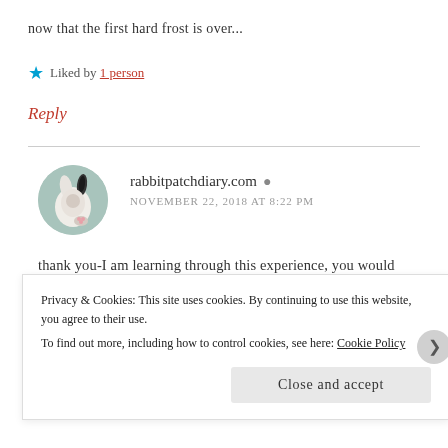now that the first hard frost is over...
★ Liked by 1 person
Reply
rabbitpatchdiary.com  NOVEMBER 22, 2018 AT 8:22 PM
thank you-I am learning through this experience, you would think by now, I would know something-it has not
Privacy & Cookies: This site uses cookies. By continuing to use this website, you agree to their use. To find out more, including how to control cookies, see here: Cookie Policy
Close and accept